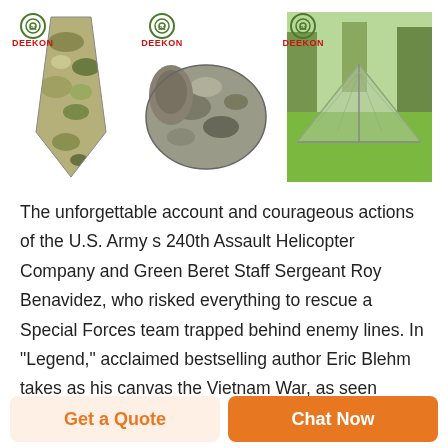[Figure (photo): Three product images with DEEKON logo: 1) camouflage tie/necktie, 2) camouflage sleeping bag, 3) military tent/mosquito net on grass]
The unforgettable account and courageous actions of the U.S. Army s 240th Assault Helicopter Company and Green Beret Staff Sergeant Roy Benavidez, who risked everything to rescue a Special Forces team trapped behind enemy lines. In "Legend," acclaimed bestselling author Eric Blehm takes as his canvas the Vietnam War, as seen through a
[Figure (other): Button: Get a Quote (orange text on light orange background)]
[Figure (other): Button: Chat Now (white text on orange background)]